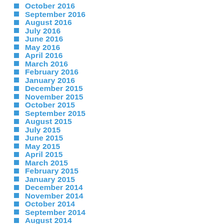October 2016
September 2016
August 2016
July 2016
June 2016
May 2016
April 2016
March 2016
February 2016
January 2016
December 2015
November 2015
October 2015
September 2015
August 2015
July 2015
June 2015
May 2015
April 2015
March 2015
February 2015
January 2015
December 2014
November 2014
October 2014
September 2014
August 2014